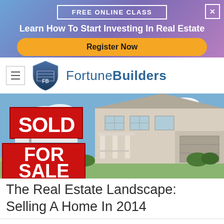[Figure (screenshot): Advertisement banner with gradient blue-purple background. Contains a 'FREE ONLINE CLASS' button with white border, text 'Learn How To Start Investing In Real Estate', a gold 'Register Now' button, and a white X close button in top-right corner.]
[Figure (logo): FortuneBuilders logo: a shield icon with 'FB' letters and the brand name 'FortuneBuilders' in blue text, with a hamburger menu icon to the left.]
[Figure (photo): Hero photograph of a residential house with a red 'SOLD FOR SALE' sign in the foreground. The house is a two-story beige/gray home with white columns and a garage.]
The Real Estate Landscape: Selling A Home In 2014